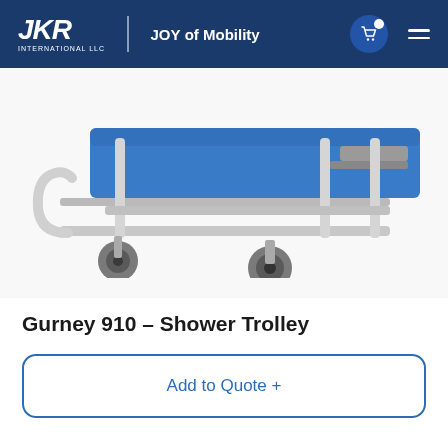JKR INTERNATIONAL LLC | JOY of Mobility
[Figure (photo): Close-up photo of a Gurney 910 Shower Trolley showing the metal frame, rails, blue padded surface, and caster wheels on a white background.]
Gurney 910 – Shower Trolley
Add to Quote +